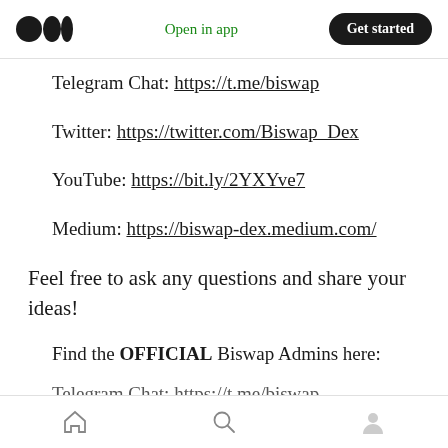Medium logo | Open in app | Get started
Telegram Chat: https://t.me/biswap
Twitter: https://twitter.com/Biswap_Dex
YouTube: https://bit.ly/2YXYve7
Medium: https://biswap-dex.medium.com/
Feel free to ask any questions and share your ideas!
Find the OFFICIAL Biswap Admins here:
Telegram Chat: https://t.me/biswap
Home | Search | Profile